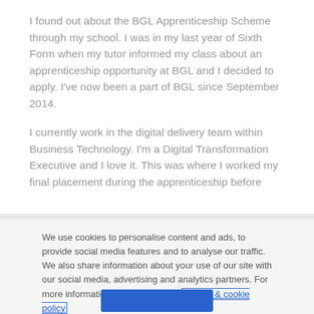I found out about the BGL Apprenticeship Scheme through my school. I was in my last year of Sixth Form when my tutor informed my class about an apprenticeship opportunity at BGL and I decided to apply. I've now been a part of BGL since September 2014.
I currently work in the digital delivery team within Business Technology. I'm a Digital Transformation Executive and I love it. This was where I worked my final placement during the apprenticeship before
We use cookies to personalise content and ads, to provide social media features and to analyse our traffic. We also share information about your use of our site with our social media, advertising and analytics partners. For more information, please view our privacy & cookie policy